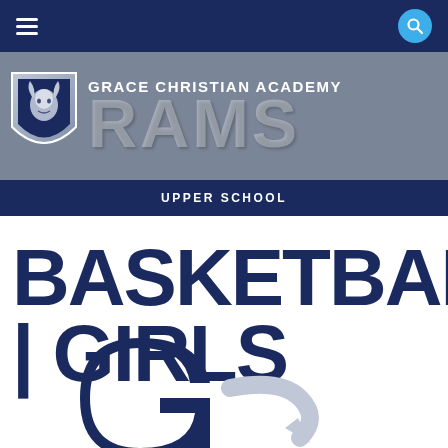Grace Christian Academy Rams – Upper School
BASKETBALL | GIRLS
[Figure (logo): Grace Christian Academy Rams shield logo with ram head, followed by 'GRACE CHRISTIAN ACADEMY' text above large 'RAMS' text on grey background]